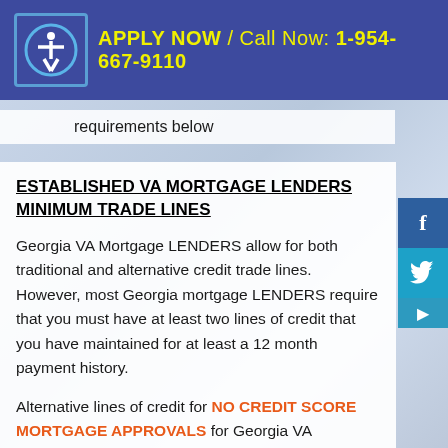APPLY NOW / Call Now: 1-954-667-9110
requirements below
ESTABLISHED VA MORTGAGE LENDERS MINIMUM TRADE LINES
Georgia VA Mortgage LENDERS allow for both traditional and alternative credit trade lines. However, most Georgia mortgage LENDERS require that you must have at least two lines of credit that you have maintained for at least a 12 month payment history.
Alternative lines of credit for NO CREDIT SCORE MORTGAGE APPROVALS for Georgia VA mortgage applicants are used to provide the ability and willingness to pay debt. VA alt trade lines defined as continuing proof of payment for direct service provider obligations, such as